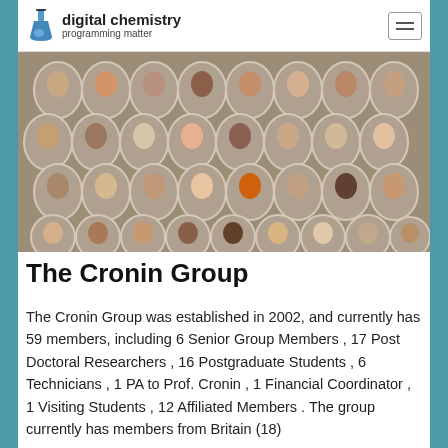digital chemistry programming matter
[Figure (photo): Group photo mosaic of The Cronin Group members, showing approximately 59 individual oval-framed portrait photos arranged in rows against a warm background.]
The Cronin Group
The Cronin Group was established in 2002, and currently has 59 members, including 6 Senior Group Members , 17 Post Doctoral Researchers , 16 Postgraduate Students , 6 Technicians , 1 PA to Prof. Cronin , 1 Financial Coordinator , 1 Visiting Students , 12 Affiliated Members . The group currently has members from Britain (18)